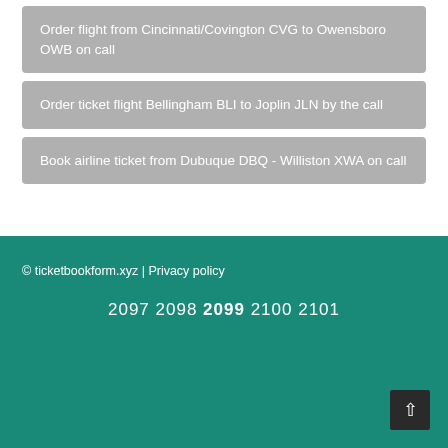Order flight from Cincinnati/Covington CVG to Owensboro OWB on call
Order ticket flight Bellingham BLI to Joplin JLN by the call
Book airline ticket from Dubuque DBQ - Williston XWA on call
© ticketbookform.xyz | Privacy policy
2097 2098 2099 2100 2101